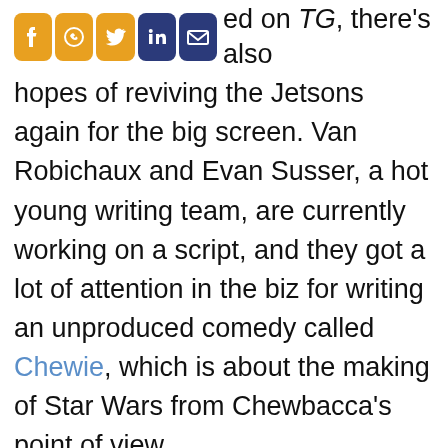…were published on TG, there's also hopes of reviving the Jetsons again for the big screen. Van Robichaux and Evan Susser, a hot young writing team, are currently working on a script, and they got a lot of attention in the biz for writing an unproduced comedy called Chewie, which is about the making of Star Wars from Chewbacca's point of view.
Whether a new version of the Jetsons will try and envision the future a hundred years from now, or recreate the retro vision of the future we saw in the cartoons, it would be nice to